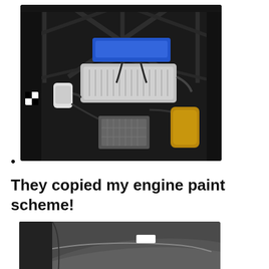[Figure (photo): Overhead view of a car engine bay showing a roll cage, silver intercooler/intake manifold, blue valve cover, various hoses and components including a gold catalytic converter, and a checkered flag sticker visible on the left side.]
They copied my engine paint scheme!
[Figure (photo): Partial view of a car's hood/bonnet area showing dark grey/silver bodywork with a white rectangular label visible.]